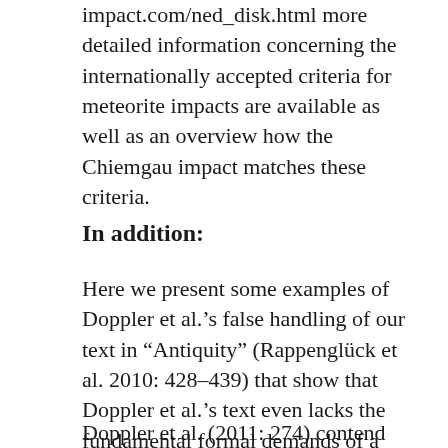impact.com/ned_disk.html more detailed information concerning the internationally accepted criteria for meteorite impacts are available as well as an overview how the Chiemgau impact matches these criteria.
In addition:
Here we present some examples of Doppler et al.'s false handling of our text in “Antiquity” (Rappenglück et al. 2010: 428-439) that show that Doppler et al.’s text even lacks the fundamental formal demands of a scientific debate.
Doppler et al. (2011: 274) contend that we